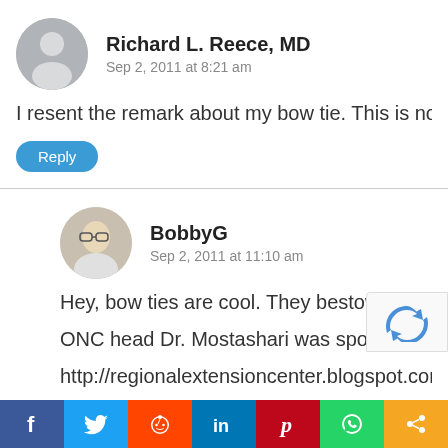Richard L. Reece, MD — Sep 2, 2011 at 8:21 am
I resent the remark about my bow tie. This is not a seri…
Reply
BobbyG — Sep 2, 2011 at 11:10 am
Hey, bow ties are cool. They bestow that aura of scho…
ONC head Dr. Mostashari was sporting one at the L…
http://regionalextensioncenter.blogspot.com/2011/08/…
Reply